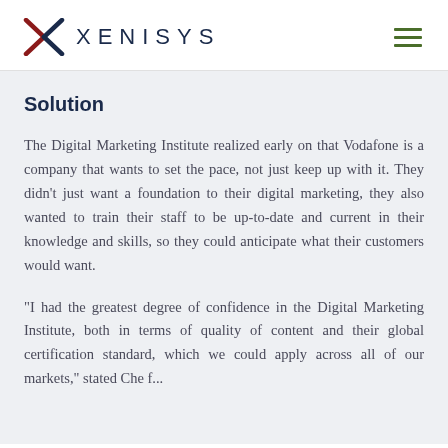XENISYS
Solution
The Digital Marketing Institute realized early on that Vodafone is a company that wants to set the pace, not just keep up with it. They didn’t just want a foundation to their digital marketing, they also wanted to train their staff to be up-to-date and current in their knowledge and skills, so they could anticipate what their customers would want.
“I had the greatest degree of confidence in the Digital Marketing Institute, both in terms of quality of content and their global certification standard, which we could apply across all of our markets,” stated Che f…